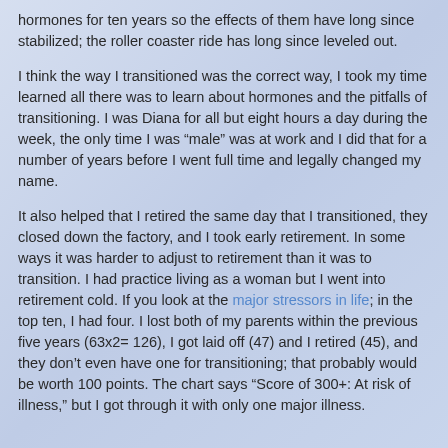hormones for ten years so the effects of them have long since stabilized; the roller coaster ride has long since leveled out.
I think the way I transitioned was the correct way, I took my time learned all there was to learn about hormones and the pitfalls of transitioning. I was Diana for all but eight hours a day during the week, the only time I was “male” was at work and I did that for a number of years before I went full time and legally changed my name.
It also helped that I retired the same day that I transitioned, they closed down the factory, and I took early retirement. In some ways it was harder to adjust to retirement than it was to transition. I had practice living as a woman but I went into retirement cold. If you look at the major stressors in life; in the top ten, I had four. I lost both of my parents within the previous five years (63x2= 126), I got laid off (47) and I retired (45), and they don’t even have one for transitioning; that probably would be worth 100 points. The chart says “Score of 300+: At risk of illness,” but I got through it with only one major illness.